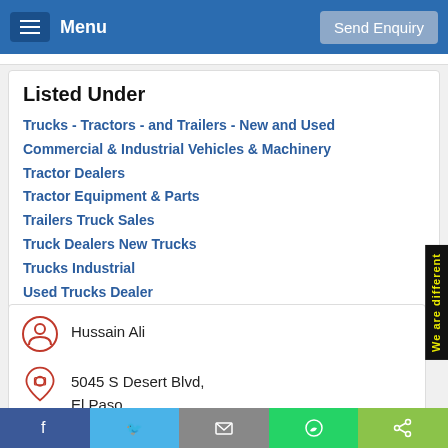Menu | Send Enquiry
Listed Under
Trucks - Tractors - and Trailers - New and Used
Commercial & Industrial Vehicles & Machinery
Tractor Dealers
Tractor Equipment & Parts
Trailers Truck Sales
Truck Dealers New Trucks
Trucks Industrial
Used Trucks Dealer
Hussain Ali
5045 S Desert Blvd, El Paso, TX 79932
Visit Website